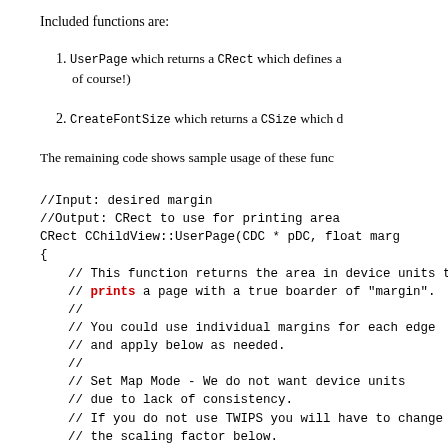Included functions are:
UserPage which returns a CRect which defines a ... of course!)
CreateFontSize which returns a CSize which d...
The remaining code shows sample usage of these func...
//Input: desired margin
//Output: CRect to use for printing area
CRect CChildView::UserPage(CDC * pDC, float marg...
{
    // This function returns the area in device units to be
    // prints a page with a true boarder of "margin".
    //
    // You could use individual margins for each edge
    // and apply below as needed.
    //
    // Set Map Mode - We do not want device units
    // due to lack of consistency.
    // If you do not use TWIPS you will have to change
    // the scaling factor below.
    int OriginalMapMode = pDC->SetMapMode(MM_...

    // Variable needed to store printer info.
    CSize PrintOffset,Physical,Printable;